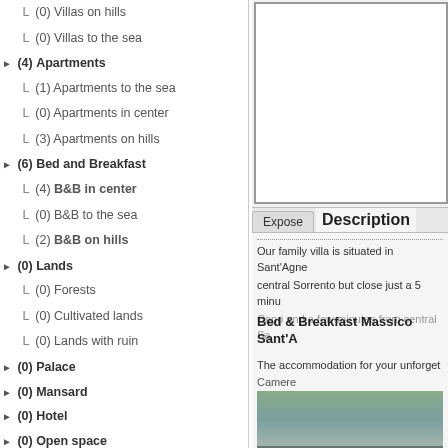L (0) Villas on hills
L (0) Villas to the sea
▶ (4) Apartments
L (1) Apartments to the sea
L (0) Apartments in center
L (3) Apartments on hills
▶ (6) Bed and Breakfast
L (4) B&B in center
L (0) B&B to the sea
L (2) B&B on hills
▶ (0) Lands
L (0) Forests
L (0) Cultivated lands
L (0) Lands with ruin
▶ (0) Palace
▶ (0) Mansard
▶ (0) Hotel
▶ (0) Open space
Expose | Description
Our family villa is situated in Sant'Agne central Sorrento but close just a 5 minu Capri and a few minutes from central Sa
Bed & Breakfast Massico Sant'A
The accommodation for your unforget Camere
It is accessible along a green and quiet
There are three capacious and elegan throughout your stay.
We have for you three spacious rooms